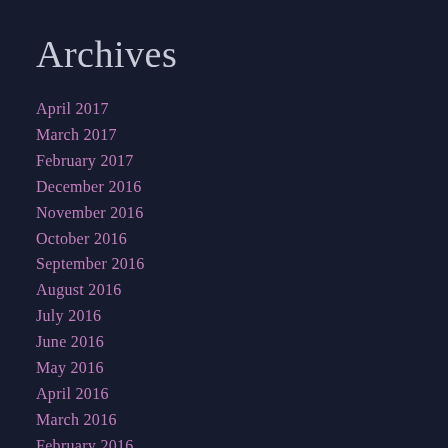Archives
April 2017
March 2017
February 2017
December 2016
November 2016
October 2016
September 2016
August 2016
July 2016
June 2016
May 2016
April 2016
March 2016
February 2016
January 2016
November 2014
May 2014